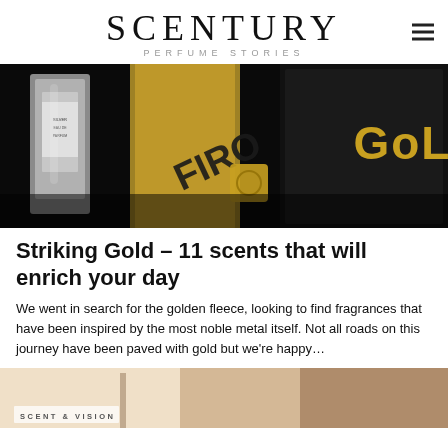SCENTURY PERFUME STORIES
[Figure (photo): Close-up photo of luxury perfume bottles on a dark background, including a black bottle labeled 'GOLD' in gold letters.]
Striking Gold – 11 scents that will enrich your day
We went in search for the golden fleece, looking to find fragrances that have been inspired by the most noble metal itself. Not all roads on this journey have been paved with gold but we're happy…
[Figure (photo): Partial view of another article image with label SCENT & VISION visible at bottom left.]